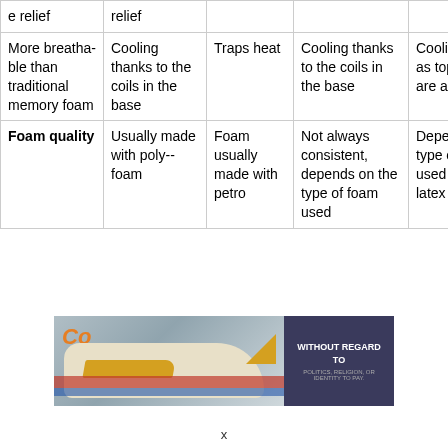|  |  |  |  |  |
| --- | --- | --- | --- | --- |
| e relief | relief |  |  |  |
| More breathable than traditional memory foam | Cooling thanks to the coils in the base | Traps heat | Cooling thanks to the coils in the base | Cooling as long as top layers are aerated |
| Foam quality | Usually made with poly-foam | Foam usually made with petro | Not always consistent, depends on the type of foam used | Depends on the type of latex used synthetic latex breaks |
[Figure (photo): Advertisement banner showing an airplane with cargo being loaded. Dark background section on right reads 'WITHOUT REGARD TO POLITICS, RELIGION, OR IDENTITY TO PAY.']
x